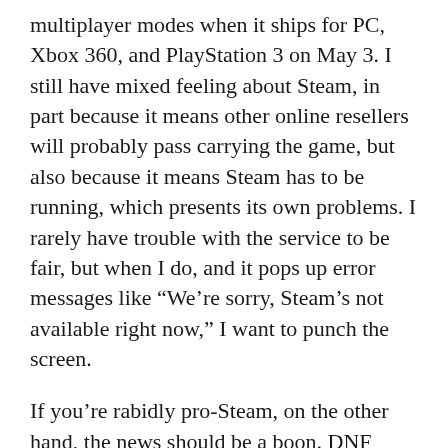multiplayer modes when it ships for PC, Xbox 360, and PlayStation 3 on May 3. I still have mixed feeling about Steam, in part because it means other online resellers will probably pass carrying the game, but also because it means Steam has to be running, which presents its own problems. I rarely have trouble with the service to be fair, but when I do, and it pops up error messages like “We’re sorry, Steam’s not available right now,” I want to punch the screen.
If you’re rabidly pro-Steam, on the other hand, the news should be a boon. DNF Publisher 2K hasn’t yet said whether this includes Steam achievements, but hints at it more to come as “a bunch of questions [players] have been asking…are finalized.” The response to the news on developer